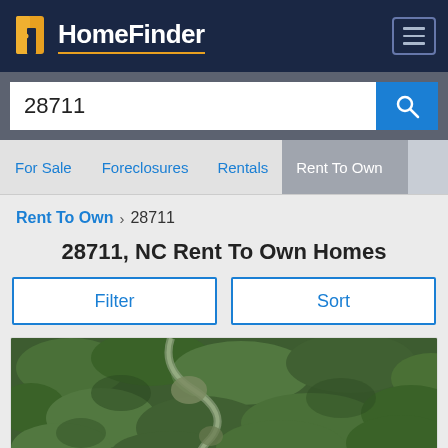HomeFinder
28711
For Sale
Foreclosures
Rentals
Rent To Own
Rent To Own > 28711
28711, NC Rent To Own Homes
Filter
Sort
[Figure (photo): Aerial satellite view of wooded/forested area with a road or path winding through trees, shown from above]